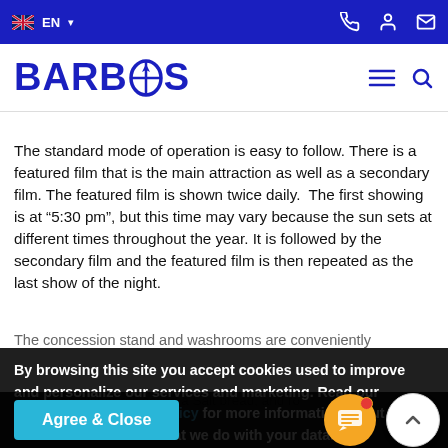EN navigation bar with flag, phone, user, mail icons — Barbados tourism website header
[Figure (logo): BARBADOS logo in bold blue with compass/trident O letter, hamburger menu and search icons on right]
The standard mode of operation is easy to follow. There is a featured film that is the main attraction as well as a secondary film. The featured film is shown twice daily.  The first showing is at "5:30 pm", but this time may vary because the sun sets at different times throughout the year. It is followed by the secondary film and the featured film is then repeated as the last show of the night.
The concession stand and washrooms are conveniently
By browsing this site you accept cookies used to improve and personalize our services and marketing. Read our Cookies and Privacy Policy for more information about Cookies we use and what we do with your data.
ks, pizza and burgers. But we always do things differently in the Caribbean s
onal offerings such as sa ks or flying fish between a
Barbadian dinner roll called a Salt bread, and ro
[Figure (other): Agree & Close button (cyan/teal), yellow chat FAB with red badge, white up-arrow FAB]